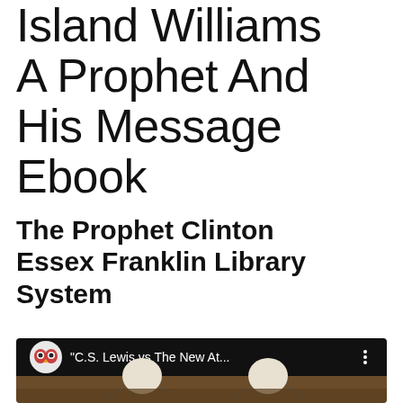Island Williams A Prophet And His Message Ebook
The Prophet Clinton Essex Franklin Library System
[Figure (screenshot): A black video thumbnail bar showing an owl icon on the left, text 'C.S. Lewis vs The New At...' and a three-dot menu icon on the right, with an illustrated scene below showing two stylized figures facing each other against a renaissance-style background.]